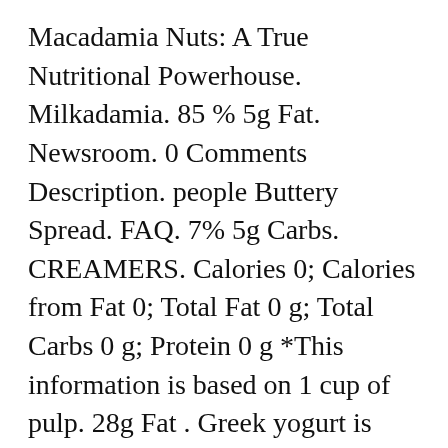Macadamia Nuts: A True Nutritional Powerhouse. Milkadamia. 85 % 5g Fat. Newsroom. 0 Comments Description. people Buttery Spread. FAQ. 7% 5g Carbs. CREAMERS. Calories 0; Calories from Fat 0; Total Fat 0 g; Total Carbs 0 g; Protein 0 g *This information is based on 1 cup of pulp. 28g Fat . Greek yogurt is high in protein, but tends to be thick. MILKS. Calories in Macadamia Nuts based on the calories, fat, protein, carbs and other nutrition information submitted for Macadamia Nuts. Advanced Nutrition Search; Diet Analysis ≡ Advanced Nutrition Search | Diet Analysis. Carbs. I've had it with a scoop of pumpkin crisp and wow flavor explosion! If you use maple syrup, dates, or another form of sugar, how